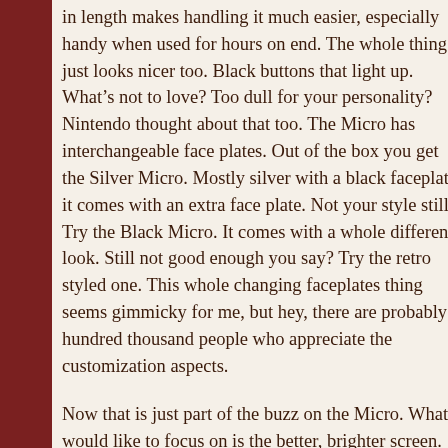in length makes handling it much easier, especially handy when used for hours on end. The whole thing just looks nicer too. Black buttons that light up. What's not to love? Too dull for your personality? Nintendo thought about that too. The Micro has interchangeable face plates. Out of the box you get the Silver Micro. Mostly silver with a black faceplate, it comes with an extra face plate. Not your style still? Try the Black Micro. It comes with a whole different look. Still not good enough you say? Try the retro styled one. This whole changing faceplates thing seems gimmicky for me, but hey, there are probably a hundred thousand people who appreciate the customization aspects.
Now that is just part of the buzz on the Micro. What I would like to focus on is the better, brighter screen. The resolution…beautiful. It's like night and day compared to the old GBA. It even kicks the DS to the curb. This new screen technology is the same one that gets used on all new Game Boy releases including the DS Lite. I don't know how to say this in any other way. Just take my word for it, this alone makes the thing worth the purchase.
They done well on the Micro, that is just my opinion.